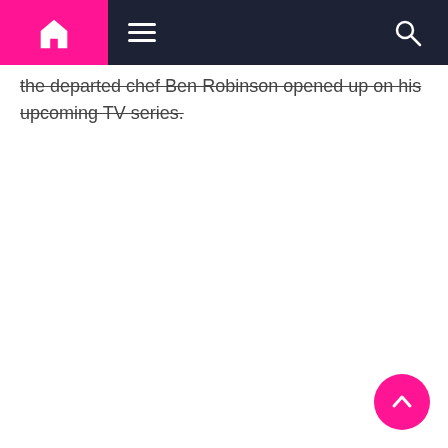Navigation bar with home icon, menu icon, and search icon
the departed chef Ben Robinson opened up on his upcoming TV series.
[Figure (other): Back to top button - pink circular button with upward chevron arrow]